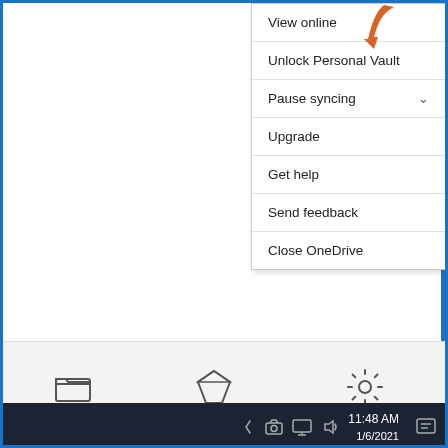[Figure (screenshot): Windows OneDrive context menu showing options: View online (with orange arrow pointing to it), Unlock Personal Vault, Pause syncing (with dropdown chevron), Upgrade, Get help, Send feedback, Close OneDrive. Below the menu is a bottom bar with Open folder, Go premium, and Help & Settings icons. An orange arrow points to Help & Settings. The Windows taskbar is visible at the bottom showing system tray icons and time 11:48 AM 1/6/2021.]